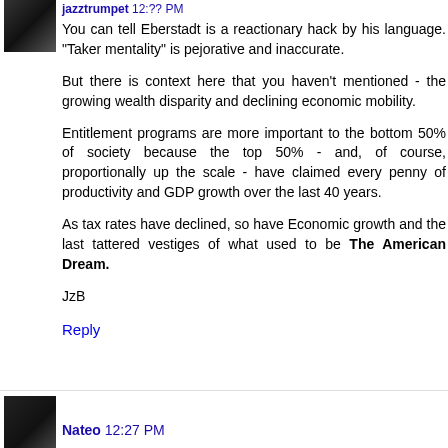jazztrumpet 12:?? PM
You can tell Eberstadt is a reactionary hack by his language. "Taker mentality" is pejorative and inaccurate.
But there is context here that you haven't mentioned - the growing wealth disparity and declining economic mobility.
Entitlement programs are more important to the bottom 50% of society because the top 50% - and, of course, proportionally up the scale - have claimed every penny of productivity and GDP growth over the last 40 years.
As tax rates have declined, so have Economic growth and the last tattered vestiges of what used to be The American Dream.
JzB
Reply
Nateo 12:27 PM